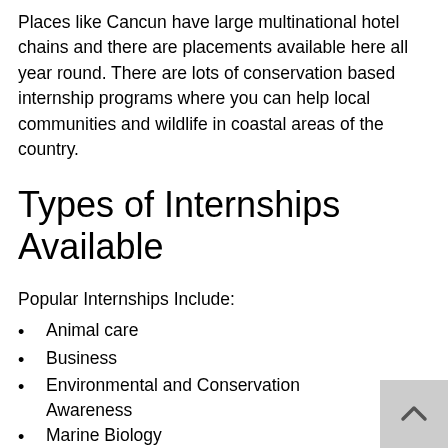Places like Cancun have large multinational hotel chains and there are placements available here all year round. There are lots of conservation based internship programs where you can help local communities and wildlife in coastal areas of the country.
Types of Internships Available
Popular Internships Include:
Animal care
Business
Environmental and Conservation Awareness
Marine Biology